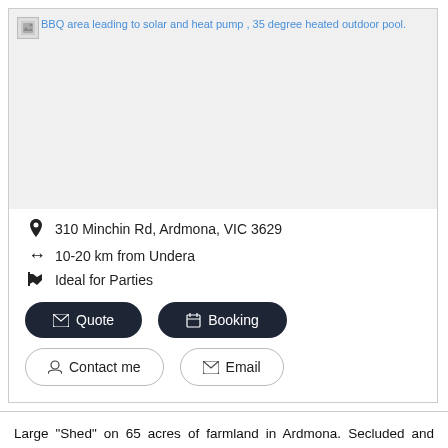[Figure (photo): Broken image placeholder with caption: BBQ area leading to solar and heat pump , 35 degree heated outdoor pool.]
310 Minchin Rd, Ardmona, VIC 3629
10-20 km from Undera
Ideal for Parties
Quote
Booking
Contact me
Email
Large "Shed" on 65 acres of farmland in Ardmona. Secluded and private, but only 10 minutes from Tatura or Mooroopna or 20 from the heart of Shepparton. Authentic with a rustic feel, the Shedd features 8 bedrooms with doubles, singles and bunks, accommodating 16 people. There are washing facilities with 2 toilets and showers off the main room.